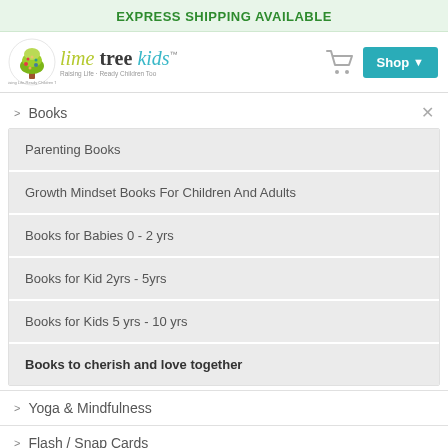EXPRESS SHIPPING AVAILABLE
[Figure (logo): Lime Tree Kids logo with tree illustration and stylized text]
> Books
Parenting Books
Growth Mindset Books For Children And Adults
Books for Babies 0 - 2 yrs
Books for Kid 2yrs - 5yrs
Books for Kids 5 yrs - 10 yrs
Books to cherish and love together
> Yoga & Mindfulness
> Flash / Snap Cards